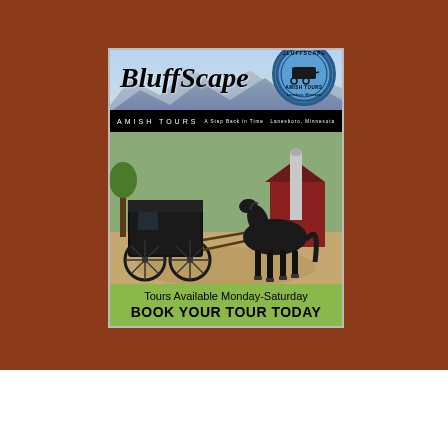[Figure (illustration): BluffScape Amish Tours advertisement. Features the BluffScape script logo, a circular badge reading 'Bluffscape Amish Tours', a photo of a horse-drawn Amish buggy in a farm setting, and text reading 'Tours Available Monday-Saturday' and 'BOOK YOUR TOUR TODAY' on a green background.]